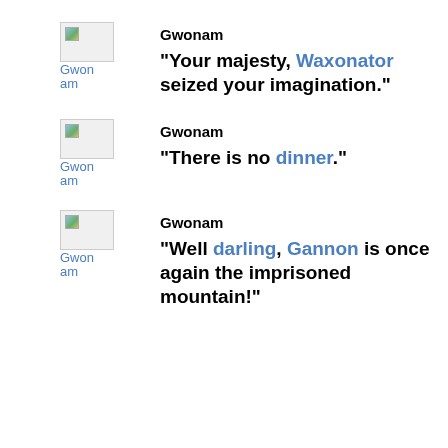Gwonam
"Your majesty, Waxonator seized your imagination."
Gwonam
"There is no dinner."
Gwonam
"Well darling, Gannon is once again the imprisoned mountain!"